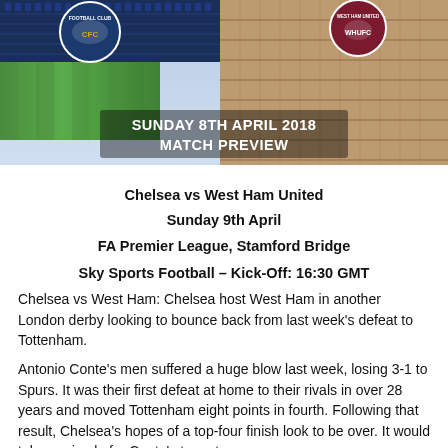[Figure (photo): Stadium banner image with Chelsea FC and West Ham United logos, showing Stamford Bridge seating in blue. Text overlay reads 'SUNDAY 8TH APRIL 2018 MATCH PREVIEW']
Chelsea vs West Ham United
Sunday 9th April
FA Premier League, Stamford Bridge
Sky Sports Football – Kick-Off: 16:30 GMT
Chelsea vs West Ham: Chelsea host West Ham in another London derby looking to bounce back from last week's defeat to Tottenham.
Antonio Conte's men suffered a huge blow last week, losing 3-1 to Spurs. It was their first defeat at home to their rivals in over 28 years and moved Tottenham eight points in fourth. Following that result, Chelsea's hopes of a top-four finish look to be over. It would take a miracle for Conte's team to